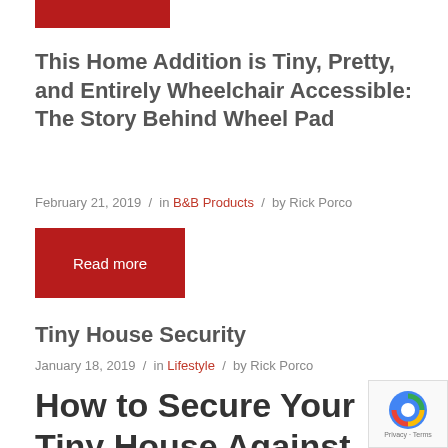[Figure (other): Red rectangular bar at top of page]
This Home Addition is Tiny, Pretty, and Entirely Wheelchair Accessible: The Story Behind Wheel Pad
February 21, 2019 / in B&B Products / by Rick Porco
Read more
Tiny House Security
January 18, 2019 / in Lifestyle / by Rick Porco
How to Secure Your Tiny House Against Break-Ins